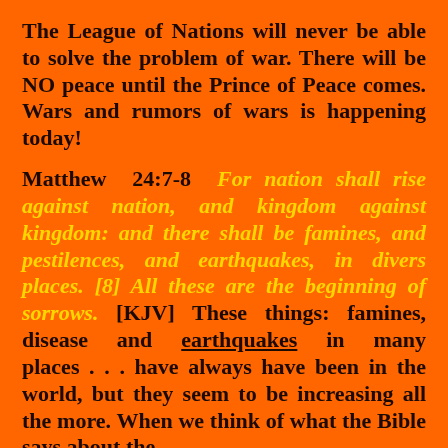The League of Nations will never be able to solve the problem of war. There will be NO peace until the Prince of Peace comes. Wars and rumors of wars is happening today!
Matthew 24:7-8 For nation shall rise against nation, and kingdom against kingdom: and there shall be famines, and pestilences, and earthquakes, in divers places. [8] All these are the beginning of sorrows. [KJV] These things: famines, disease and earthquakes in many places . . . have always have been in the world, but they seem to be increasing all the more. When we think of what the Bible says about the